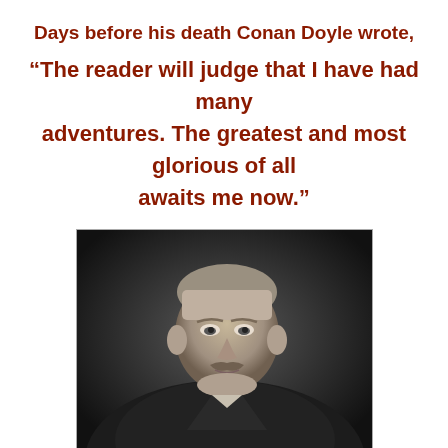Days before his death Conan Doyle wrote,
“The reader will judge that I have had many adventures. The greatest and most glorious of all awaits me now.”
[Figure (photo): Black and white portrait photograph of Arthur Conan Doyle, an older gentleman with a mustache wearing a dark suit, seated and looking slightly to the side.]